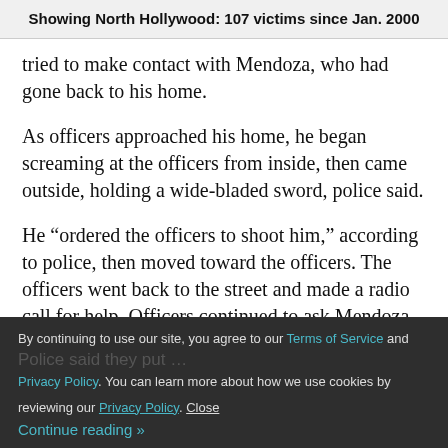Showing North Hollywood: 107 victims since Jan. 2000
tried to make contact with Mendoza, who had gone back to his home.
As officers approached his home, he began screaming at the officers from inside, then came outside, holding a wide-bladed sword, police said.
He “ordered the officers to shoot him,” according to police, then moved toward the officers. The officers went back to the street and made a radio call for help. Officers continued to ask Mendoza to drop the sword.
By continuing to use our site, you agree to our Terms of Service and Police said they put … Privacy Policy. You can learn more about how we use cookies by reviewing our Privacy Policy. Close Continue reading »